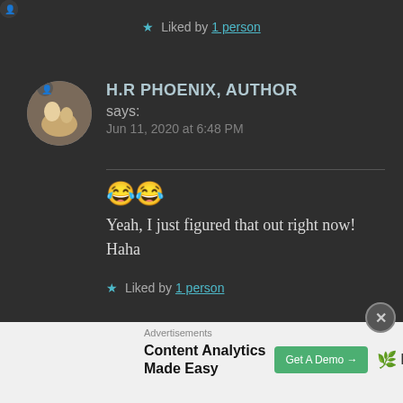★ Liked by 1 person
H.R PHOENIX, AUTHOR says: Jun 11, 2020 at 6:48 PM
😂😂 Yeah, I just figured that out right now! Haha
★ Liked by 1 person
Advertisements Content Analytics Made Easy Get A Demo → Parse.ly